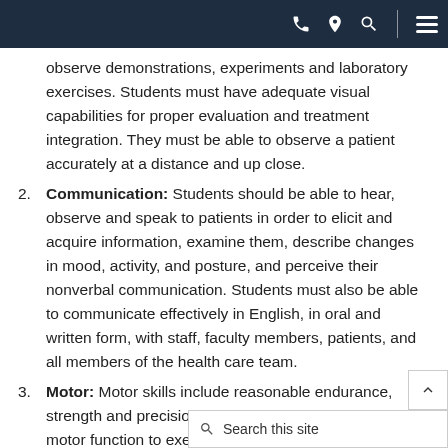Navigation header bar with phone, location, search icons and hamburger menu
observe demonstrations, experiments and laboratory exercises. Students must have adequate visual capabilities for proper evaluation and treatment integration. They must be able to observe a patient accurately at a distance and up close.
2. Communication: Students should be able to hear, observe and speak to patients in order to elicit and acquire information, examine them, describe changes in mood, activity, and posture, and perceive their nonverbal communication. Students must also be able to communicate effectively in English, in oral and written form, with staff, faculty members, patients, and all members of the health care team.
3. Motor: Motor skills include reasonable endurance, strength and precision. Students should have sufficient motor function to execute movements reasonably required for general ca...